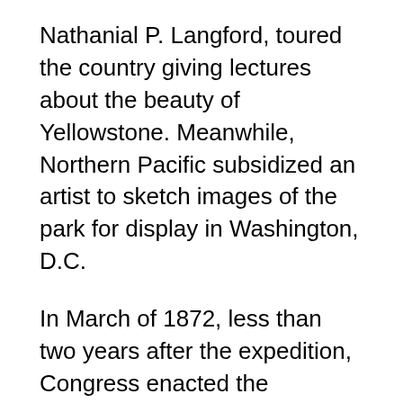Nathanial P. Langford, toured the country giving lectures about the beauty of Yellowstone. Meanwhile, Northern Pacific subsidized an artist to sketch images of the park for display in Washington, D.C.
In March of 1872, less than two years after the expedition, Congress enacted the Yellowstone Park Act, ensuring that the land would remain under the purview of the Department of the Interior rather than being divvied up among private individuals—an arrangement that would attract visitors to the area, which would be sure to benefit big business like the railroad company.
More than 70 years into the park's existence, LIFE